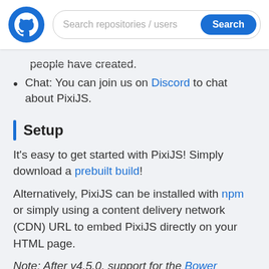Search repositories / users [Search button]
people have created.
Chat: You can join us on Discord to chat about PixiJS.
Setup
It's easy to get started with PixiJS! Simply download a prebuilt build!
Alternatively, PixiJS can be installed with npm or simply using a content delivery network (CDN) URL to embed PixiJS directly on your HTML page.
Note: After v4.5.0, support for the Bower package manager has been